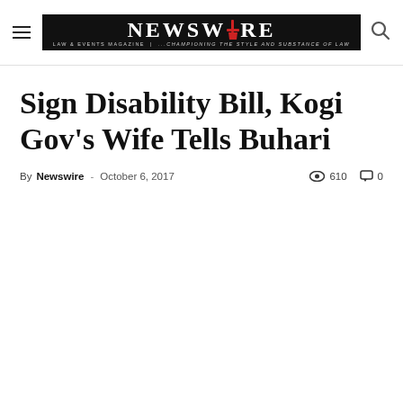NEWSWIRE LAW & EVENTS MAGAZINE | ...championing the style and substance of law
Sign Disability Bill, Kogi Gov's Wife Tells Buhari
By Newswire - October 6, 2017   610  0